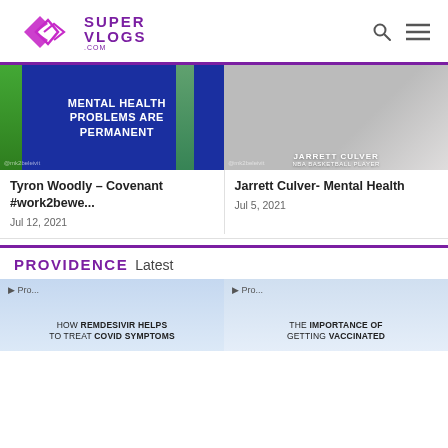SUPER VLOGS .com
[Figure (screenshot): Video thumbnail with blue background and text: MENTAL HEALTH PROBLEMS ARE PERMANENT]
[Figure (screenshot): Video thumbnail showing Jarrett Culver, NBA basketball player, wearing gray sweatshirt]
Tyron Woodly – Covenant #work2bewe...
Jul 12, 2021
Jarrett Culver- Mental Health
Jul 5, 2021
PROVIDENCE Latest
[Figure (screenshot): Video thumbnail with light blue sky background and text: HOW REMDESIVIR HELPS TO TREAT COVID SYMPTOMS]
[Figure (screenshot): Video thumbnail with light blue sky background and text: THE IMPORTANCE OF GETTING VACCINATED]